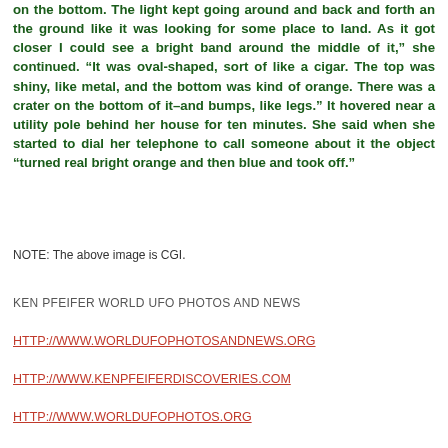on the bottom. The light kept going around and back and forth an the ground like it was looking for some place to land. As it got closer I could see a bright band around the middle of it,” she continued. “It was oval-shaped, sort of like a cigar. The top was shiny, like metal, and the bottom was kind of orange. There was a crater on the bottom of it–and bumps, like legs.” It hovered near a utility pole behind her house for ten minutes. She said when she started to dial her telephone to call someone about it the object “turned real bright orange and then blue and took off.”
NOTE: The above image is CGI.
KEN PFEIFER WORLD UFO PHOTOS AND NEWS
HTTP://WWW.WORLDUFOPHOTOSANDNEWS.ORG
HTTP://WWW.KENPFEIFERDISCOVERIES.COM
HTTP://WWW.WORLDUFOPHOTOS.ORG